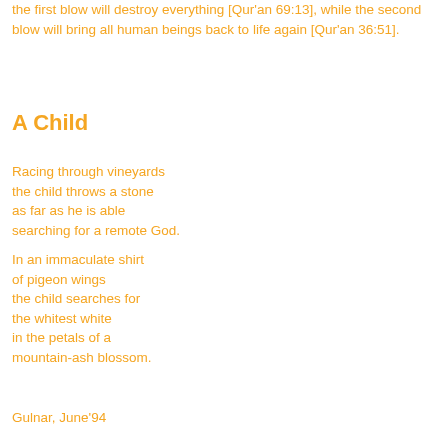the first blow will destroy everything [Qur'an 69:13], while the second blow will bring all human beings back to life again [Qur'an 36:51].
A Child
Racing through vineyards
the child throws a stone
as far as he is able
searching for a remote God.
In an immaculate shirt
of pigeon wings
the child searches for
the whitest white
in the petals of a
mountain-ash blossom.
Gulnar, June'94